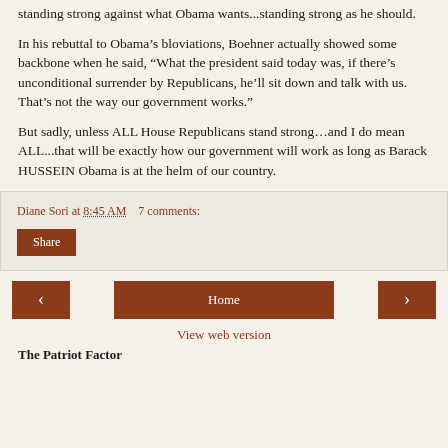standing strong against what Obama wants...standing strong as he should.
In his rebuttal to Obama’s bloviations, Boehner actually showed some backbone when he said, “What the president said today was, if there’s unconditional surrender by Republicans, he’ll sit down and talk with us. That’s not the way our government works.”
But sadly, unless ALL House Republicans stand strong…and I do mean ALL...that will be exactly how our government will work as long as Barack HUSSEIN Obama is at the helm of our country.
Diane Sori at 8:45 AM    7 comments:
Share
Home
View web version
The Patriot Factor